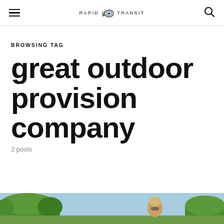RAPID TRANSIT
BROWSING TAG
great outdoor provision company
2 posts
[Figure (photo): Partial photo at bottom of page showing trees and sky with a person visible]